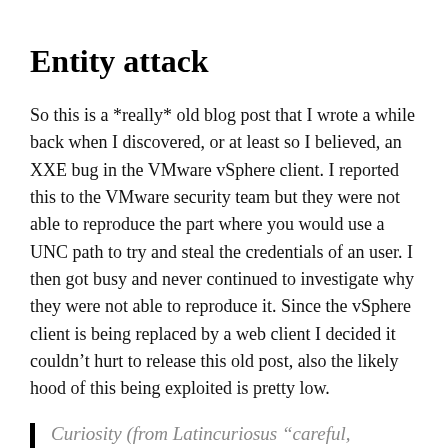Entity attack
So this is a *really* old blog post that I wrote a while back when I discovered, or at least so I believed, an XXE bug in the VMware vSphere client. I reported this to the VMware security team but they were not able to reproduce the part where you would use a UNC path to try and steal the credentials of an user. I then got busy and never continued to investigate why they were not able to reproduce it. Since the vSphere client is being replaced by a web client I decided it couldn't hurt to release this old post, also the likely hood of this being exploited is pretty low.
Curiosity (from Latincuriosus “careful,